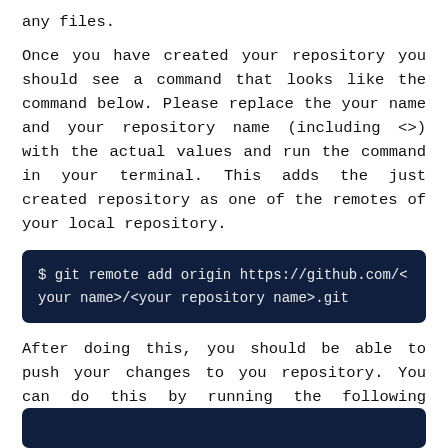any files.
Once you have created your repository you should see a command that looks like the command below. Please replace the your name and your repository name (including <>) with the actual values and run the command in your terminal. This adds the just created repository as one of the remotes of your local repository.
$ git remote add origin https://github.com/<your name>/<your repository name>.git
After doing this, you should be able to push your changes to you repository. You can do this by running the following command.